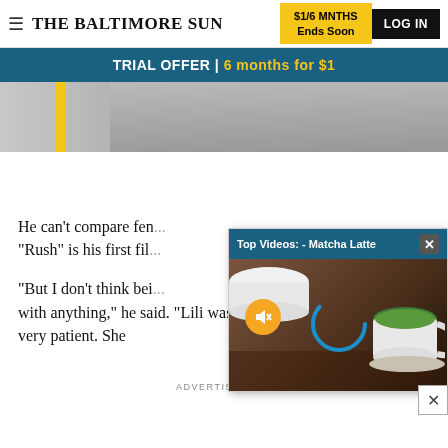THE BALTIMORE SUN | $1/6 MNTHS Ends Soon | LOG IN
TRIAL OFFER | 6 months for $1
[Figure (photo): Partial newspaper article photo showing a person running, with a yellow vertical bar accent on the left side]
[Figure (screenshot): Video overlay panel titled 'Top Videos: - Matcha Latte' showing a video thumbnail of a green matcha latte drink in a white cup on a wooden surface, with a mute icon and loading circle overlay]
He can't compare fen... "Rush" is his first fil...
"But I don't think bei... with anything," he said. "Lili was very patient. She
ADVERTISEMENT